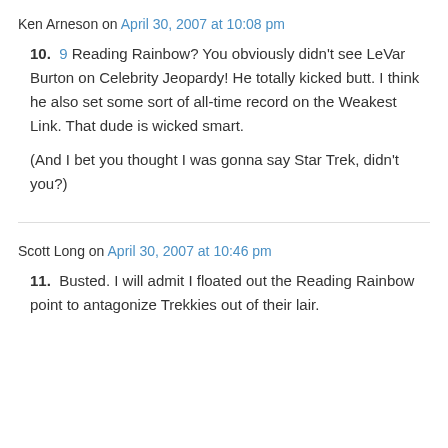Ken Arneson on April 30, 2007 at 10:08 pm
10. 9 Reading Rainbow? You obviously didn't see LeVar Burton on Celebrity Jeopardy! He totally kicked butt. I think he also set some sort of all-time record on the Weakest Link. That dude is wicked smart.

(And I bet you thought I was gonna say Star Trek, didn't you?)
Scott Long on April 30, 2007 at 10:46 pm
11. Busted. I will admit I floated out the Reading Rainbow point to antagonize Trekkies out of their lair.